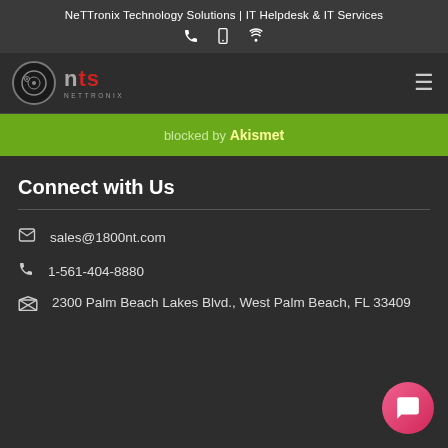NeTTronix Technology Solutions | IT Helpdesk & IT Services
[Figure (logo): NeTTronix (NTS) logo with circular icon and red/grey text, hamburger menu icon on right]
blocked by Akismet
Connect with Us
sales@1800nt.com
1-561-404-8880
2300 Palm Beach Lakes Blvd., West Palm Beach, FL 33409
[Figure (illustration): Pink/red circular chat bubble button in bottom right corner]